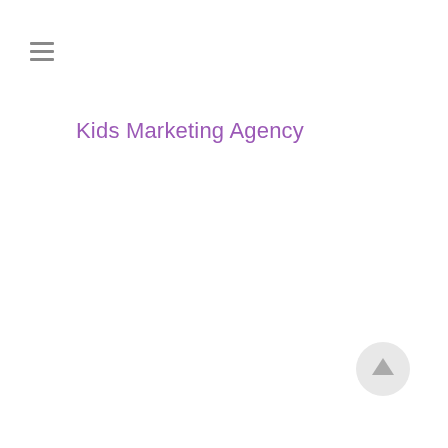[Figure (illustration): Hamburger menu icon with three horizontal lines]
Kids Marketing Agency
[Figure (illustration): Circular scroll-to-top button with upward arrow, light gray background]